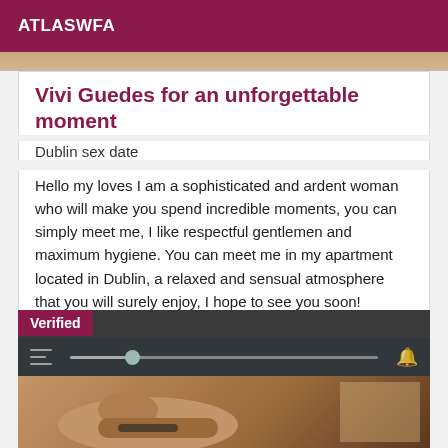ATLASWFA
[Figure (photo): Partial photo strip at top of listing]
Vivi Guedes for an unforgettable moment
Dublin sex date
Hello my loves I am a sophisticated and ardent woman who will make you spend incredible moments, you can simply meet me, I like respectful gentlemen and maximum hygiene. You can meet me in my apartment located in Dublin, a relaxed and sensual atmosphere that you will surely enjoy, I hope to see you soon!
[Figure (photo): Photo with Verified badge and media player bar overlay showing a hand holding a phone]